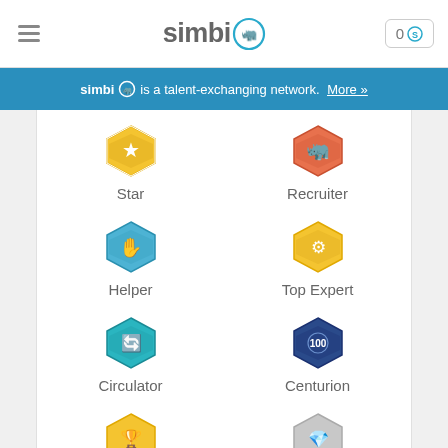simbi [logo] 0 S
simbi is a talent-exchanging network. More »
[Figure (infographic): Badge grid showing six badges: Star (blue hexagon with star), Recruiter (orange hexagon with rhino), Helper (blue hexagon with hand), Top Expert (yellow hexagon with crossed tools), Circulator (teal hexagon with arrows), Centurion (dark blue hexagon with 100), plus two partially visible badges at bottom]
Join the Tribe
Start with 50 S after offering a service.